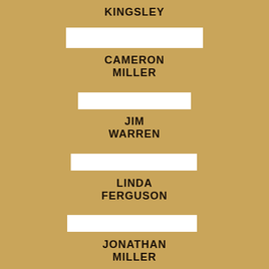KINGSLEY
[Figure (other): White rectangular bar]
CAMERON MILLER
[Figure (other): White rectangular bar]
JIM WARREN
[Figure (other): White rectangular bar]
LINDA FERGUSON
[Figure (other): White rectangular bar]
JONATHAN MILLER
[Figure (other): White rectangular bar]
JIM